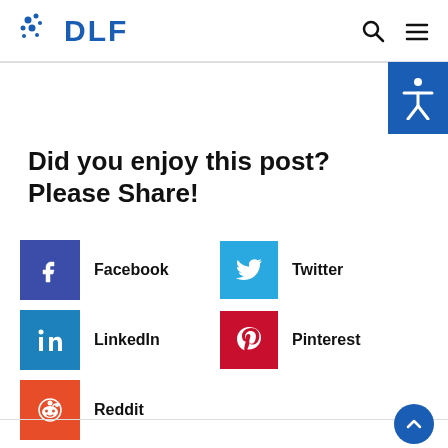DLF
Did you enjoy this post? Please Share!
Facebook
Twitter
LinkedIn
Pinterest
Reddit